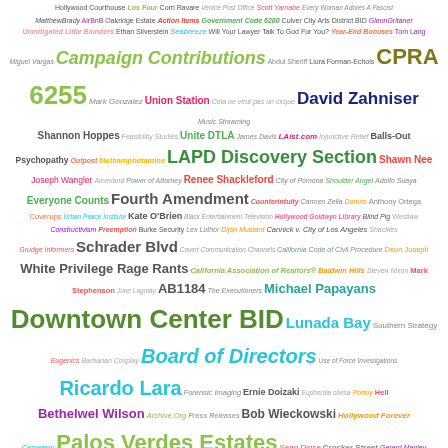[Figure (infographic): Word cloud / tag cloud containing terms related to government, legal, and civic topics in Los Angeles. Terms vary in size, color, and weight to indicate frequency or importance. Key terms include: Downtown Center BID, Board of Directors, CPRA, 6255, LAPD Discovery Section, Fourth Amendment, Palos Verdes Estates, Ricardo Lara, David Zahniser, Campaign Contributions, and many others.]